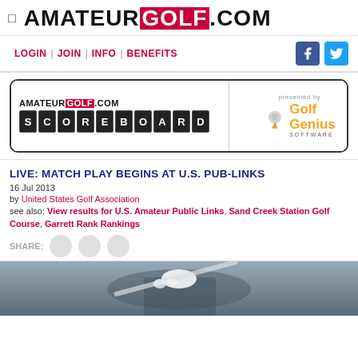AMATEUR GOLF .COM
LOGIN | JOIN | INFO | BENEFITS
[Figure (screenshot): AmateurGolf.com Scoreboard banner presented by Golf Genius Software]
LIVE: MATCH PLAY BEGINS AT U.S. PUB-LINKS
16 Jul 2013
by United States Golf Association
see also: View results for U.S. Amateur Public Links, Sand Creek Station Golf Course, Garrett Rank Rankings
SHARE:
[Figure (photo): Golfer holding a club, partial view cropped at bottom of page]